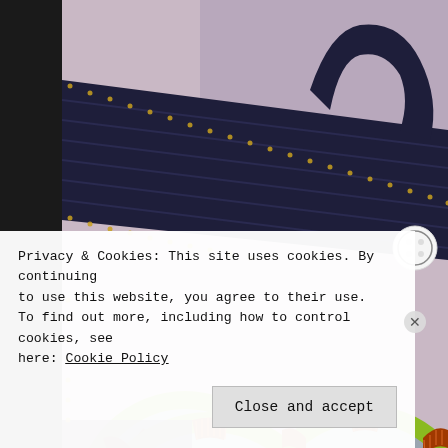[Figure (photo): Two toroidal inductors/coils with yellow-green plastic rings and copper wire windings arranged on a dark blue/black fabric strap with yellow stitching on a pink/lavender surface.]
Privacy & Cookies: This site uses cookies. By continuing to use this website, you agree to their use.
To find out more, including how to control cookies, see here: Cookie Policy
Close and accept